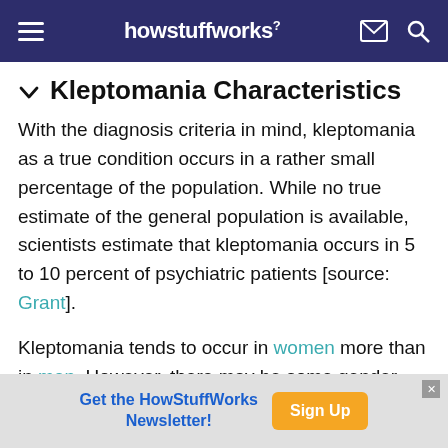howstuffworks
Kleptomania Characteristics
With the diagnosis criteria in mind, kleptomania as a true condition occurs in a rather small percentage of the population. While no true estimate of the general population is available, scientists estimate that kleptomania occurs in 5 to 10 percent of psychiatric patients [source: Grant].
Kleptomania tends to occur in women more than in men. However, there may be some gender bias in
Get the HowStuffWorks Newsletter! Sign Up